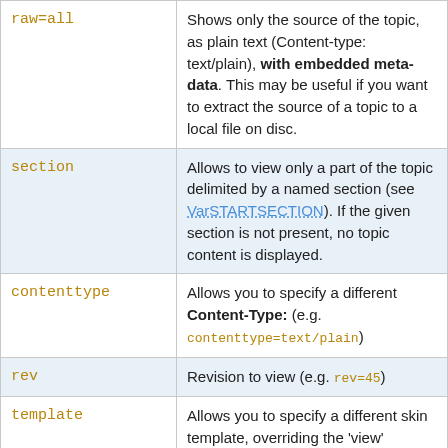| Parameter | Description |
| --- | --- |
| raw=all | Shows only the source of the topic, as plain text (Content-type: text/plain), with embedded meta-data. This may be useful if you want to extract the source of a topic to a local file on disc. |
| section | Allows to view only a part of the topic delimited by a named section (see VarSTARTSECTION). If the given section is not present, no topic content is displayed. |
| contenttype | Allows you to specify a different Content-Type: (e.g. contenttype=text/plain) |
| rev | Revision to view (e.g. rev=45) |
| template | Allows you to specify a different skin template, overriding the 'view' template the view script would normally use. The default template is view. For example |